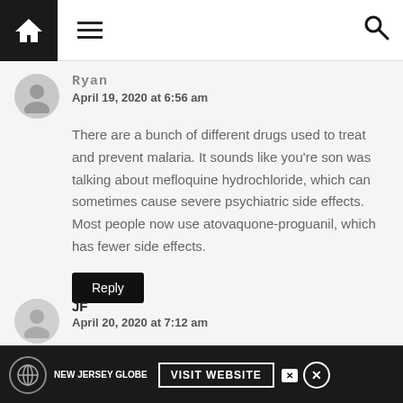Navigation bar with home, menu, and search icons
Ryan
April 19, 2020 at 6:56 am
There are a bunch of different drugs used to treat and prevent malaria. It sounds like you're son was talking about mefloquine hydrochloride, which can sometimes cause severe psychiatric side effects. Most people now use atovaquone-proguanil, which has fewer side effects.
Reply
JF
April 20, 2020 at 7:12 am
NEW JERSEY GLOBE  VISIT WEBSITE